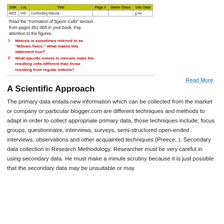[Figure (screenshot): Screenshot of a table with columns: USK, LvL, Title, Pages, Game Class, Use Data. Row: #853, HW, Confronting Meiosis, g.hw]
Read the "Formation of Sperm Cells" section from pages 851-855 in your book. Pay attention to the figures.
Meiosis is sometimes referred to as "Mitosis Twice." What makes this statement true?
What specific events in meiosis make the resulting cells different than those resulting from regular mitosis?
Read More
A Scientific Approach
The primary data entails new information which can be collected from the market or company or particular blogger.com are different techniques and methods to adapt in order to collect appropriate primary data, those techniques include; focus groups, questionnaire, interviews, surveys, semi-structured open-ended interviews, observations and other acquainted techniques (Preece, ). Secondary data collection in Research Methodology. Researcher must be very careful in using secondary data. He must make a minute scrutiny because it is just possible that the secondary data may be unsuitable or may